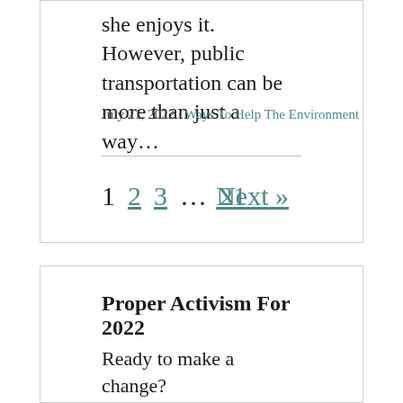she enjoys it. However, public transportation can be more than just a way…
July 21, 2022 · Ways To Help The Environment
1  2  3  …  21        Next »
Proper Activism For 2022
Ready to make a change?
We know that the current system isn't working for everyone. That's why we're